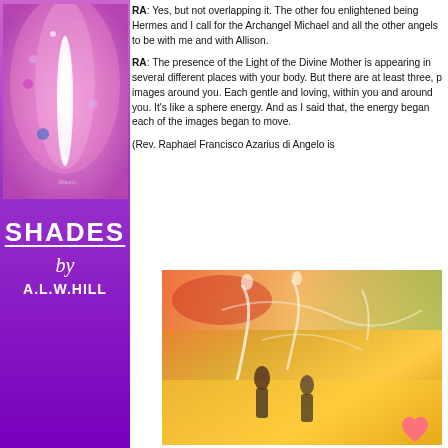[Figure (illustration): Book cover or artwork showing a white glowing figure against a pink/purple background with orbs]
SHADES
by
A.L.W.HILL
RA: Yes, but not overlapping it. The other fou enlightened being Hermes and I call for the Archangel Michael and all the other angels to be with me and with Allison.
RA: The presence of the Light of the Divine Mother is appearing in several different places with your body. But there are at least three, p images around you. Each gentle and loving, within you and around you. It's like a sphere energy. And as I said that, the energy began each of the images began to move.
(Rev. Raphael Francisco Azarius di Angelo is
[Figure (illustration): Painting showing figures in orange/red/yellow tones with white ethereal shapes and a pink heart]